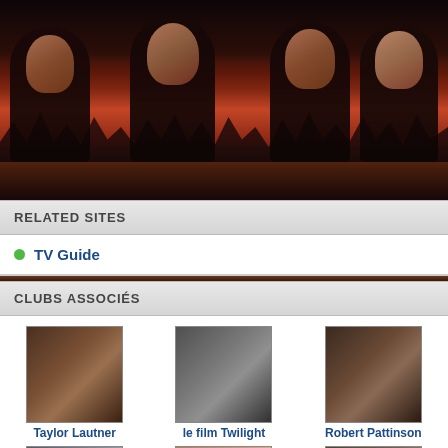[Figure (photo): Dark banner photo showing silhouettes of Twilight movie characters against a reddish-dusk sky with bare trees]
RELATED SITES
TV Guide
CLUBS ASSOCIÉS
[Figure (photo): Taylor Lautner headshot thumbnail]
Taylor Lautner
[Figure (photo): le film Twilight - wedding scene thumbnail]
le film Twilight
[Figure (photo): Robert Pattinson headshot thumbnail]
Robert Pattinson
[Figure (photo): Edward Cullen character thumbnail]
Edward Cullen
[Figure (photo): Kristen Stewart headshot thumbnail]
Kristen Stewart
[Figure (photo): Jacob Black character thumbnail]
Jacob Black
[Figure (photo): Bottom left club thumbnail - partially visible]
[Figure (photo): Bottom middle club thumbnail - partially visible]
[Figure (photo): Bottom right club thumbnail - partially visible]